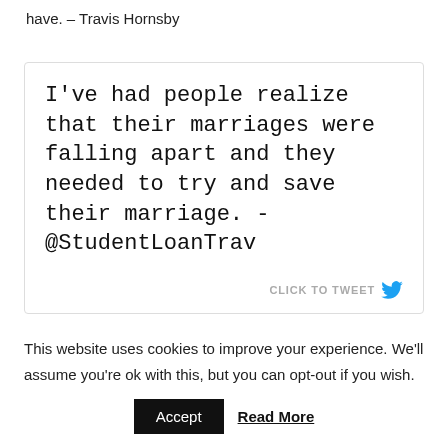have. – Travis Hornsby
[Figure (screenshot): Tweet quote box with text: I've had people realize that their marriages were falling apart and they needed to try and save their marriage. - @StudentLoanTrav, with a 'CLICK TO TWEET' link and Twitter bird icon.]
This website uses cookies to improve your experience. We'll assume you're ok with this, but you can opt-out if you wish.
Accept   Read More